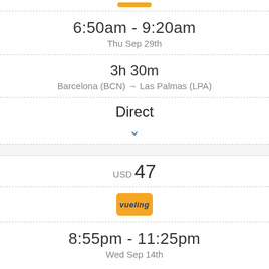6:50am - 9:20am
Thu Sep 29th
3h 30m
Barcelona (BCN) → Las Palmas (LPA)
Direct
USD 47
[Figure (logo): Vueling airline logo, yellow/gold square with blue italic text 'vueling']
8:55pm - 11:25pm
Wed Sep 14th